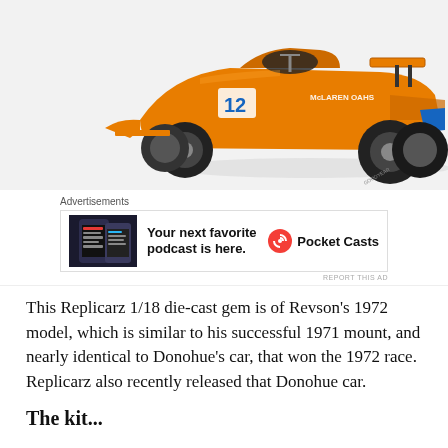[Figure (photo): A McLaren orange Formula 1 race car model number 12 (Replicarz 1/18 die-cast), shown on a white background, viewed from a three-quarter front angle.]
Advertisements
[Figure (other): Advertisement for Pocket Casts podcast app. Shows app screenshot on left, text 'Your next favorite podcast is here.' in center, Pocket Casts logo and name on right.]
This Replicarz 1/18 die-cast gem is of Revson's 1972 model, which is similar to his successful 1971 mount, and nearly identical to Donohue's car, that won the 1972 race. Replicarz also recently released that Donohue car.
The kit...